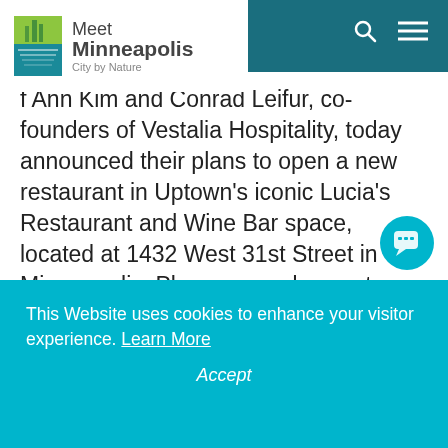Meet Minneapolis – City by Nature
f Ann Kim and Conrad Leifur, co-founders of Vestalia Hospitality, today announced their plans to open a new restaurant in Uptown's iconic Lucia's Restaurant and Wine Bar space, located at 1432 West 31st Street in Minneapolis. Plans are underway to create a Mexican-inspired restaurant honoring the craft of handmade tortillas while incorporating Kim's passion for bold, rich and deep flavors.

In this new venture, Kim is turning her attention
This Website uses cookies to enhance your visitor experience. Learn More

Accept